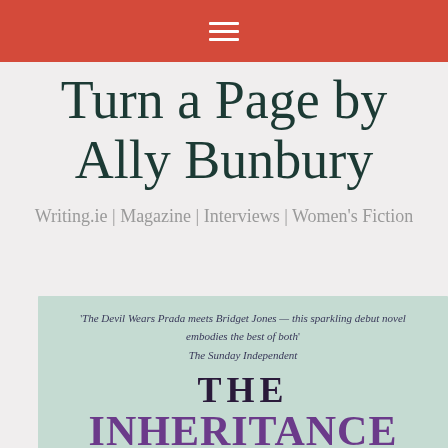≡
Turn a Page by Ally Bunbury
Writing.ie | Magazine | Interviews | Women's Fiction
[Figure (photo): Book cover of 'The Inheritance' showing a mint/pale green cover with a quote reading 'The Devil Wears Prada meets Bridget Jones — this sparkling debut novel embodies the best of both' The Sunday Independent, and the title THE INHERITANCE in large dark and purple text.]